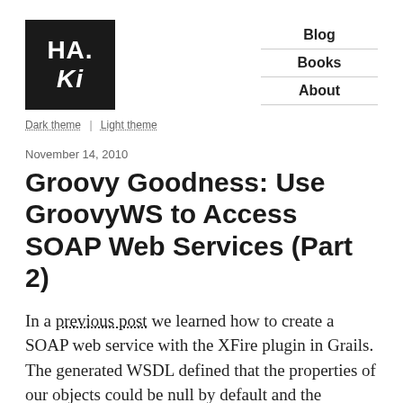[Figure (logo): HA.Ki logo in black square with white text]
Blog | Books | About
Dark theme | Light theme
November 14, 2010
Groovy Goodness: Use GroovyWS to Access SOAP Web Services (Part 2)
In a previous post we learned how to create a SOAP web service with the XFire plugin in Grails. The generated WSDL defined that the properties of our objects could be null by default and the minimum occurence is 0. And because of this we must work with